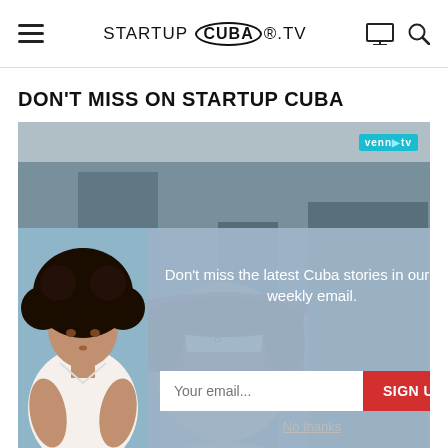STARTUP CUBA .TV
DON'T MISS ON STARTUP CUBA
[Figure (photo): Screenshot of Startup Cuba TV website showing a person wearing a dark red cap with 'TWB' text patch, overlaid with an email newsletter signup popup. The popup has a light blue-gray background with an image of a woman with natural curly hair on the left. The popup text reads 'Don't miss the latest Cuba stories in our free weekly email.' with an email input field and a red SIGN UP button. A 'No thanks' link appears below. A 'venn' badge is visible in the top right of the video thumbnail.]
Don't miss the latest Cuba stories in our free weekly email.
Your email...
SIGN UP
No thanks